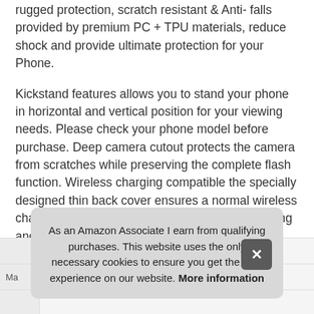rugged protection, scratch resistant & Anti- falls provided by premium PC + TPU materials, reduce shock and provide ultimate protection for your Phone.
Kickstand features allows you to stand your phone in horizontal and vertical position for your viewing needs. Please check your phone model before purchase. Deep camera cutout protects the camera from scratches while preserving the complete flash function. Wireless charging compatible the specially designed thin back cover ensures a normal wireless charging without the hassle of repeatedly removing and installing the phone case. Compatibilitycompatible with wiko ride 2 boost mobile 2020 Release.
As an Amazon Associate I earn from qualifying purchases. This website uses the only necessary cookies to ensure you get the best experience on our website. More information